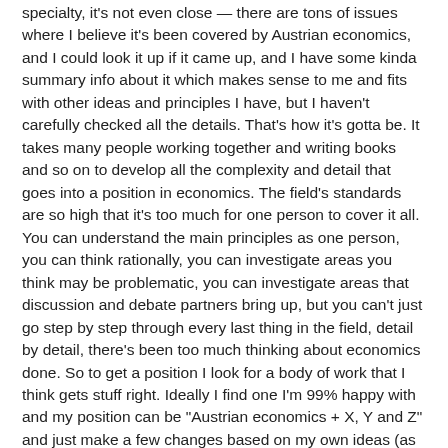specialty, it's not even close — there are tons of issues where I believe it's been covered by Austrian economics, and I could look it up if it came up, and I have some kinda summary info about it which makes sense to me and fits with other ideas and principles I have, but I haven't carefully checked all the details. That's how it's gotta be. It takes many people working together and writing books and so on to develop all the complexity and detail that goes into a position in economics. The field's standards are so high that it's too much for one person to cover it all. You can understand the main principles as one person, you can think rationally, you can investigate areas you think may be problematic, you can investigate areas that discussion and debate partners bring up, but you can't just go step by step through every last thing in the field, detail by detail, there's been too much thinking about economics done. So to get a position I look for a body of work that I think gets stuff right. Ideally I find one I'm 99% happy with and my position can be "Austrian economics + X, Y and Z" and just make a few changes based on my own ideas (as long as the changes are isolated, that's OK. If I want to change some major economic principle, it'd end up changing hundreds of conclusions, so it'd be a big issue.)
Less ideally (it's more work), I might use the ideas of one school of thought for one big part of the field and another school of thought for another big part. That's what I do in philosophy. I have Critical